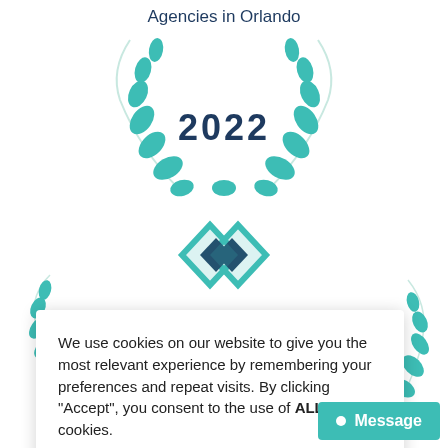[Figure (logo): Award badge with teal laurel wreath branches, text 'Agencies in Orlando' at top, and year '2022' in dark navy blue in center]
[Figure (logo): Clutch-style diamond/compass logo in teal and dark navy blue, overlapping diamond shapes]
We use cookies on our website to give you the most relevant experience by remembering your preferences and repeat visits. By clicking “Accept”, you consent to the use of ALL the cookies.
Do not sell my personal information.
Cookie Settings
Accept
● Message